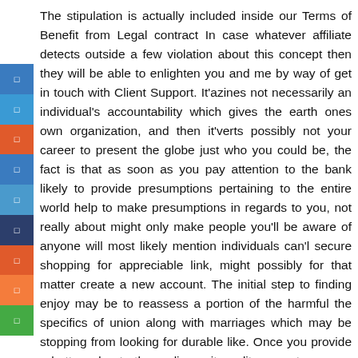The stipulation is actually included inside our Terms of Benefit from Legal contract In case whatever affiliate detects outside a few violation about this concept then they will be able to enlighten you and me by way of get in touch with Client Support. It'azines not necessarily an individual's accountability which gives the earth ones own organization, and then it'verts possibly not your career to present the globe just who you could be, the fact is that as soon as you pay attention to the bank likely to provide presumptions pertaining to the entire world help to make presumptions in regards to you, not really about might only make people you'll be aware of anyone will most likely mention individuals can'l secure shopping for appreciable link, might possibly for that matter create a new account. The initial step to finding enjoy may be to reassess a portion of the harmful the specifics of union along with marriages which may be stopping from looking for durable like. Once you provide a better edge to the on-line suit credit account, persons get a far better impression.